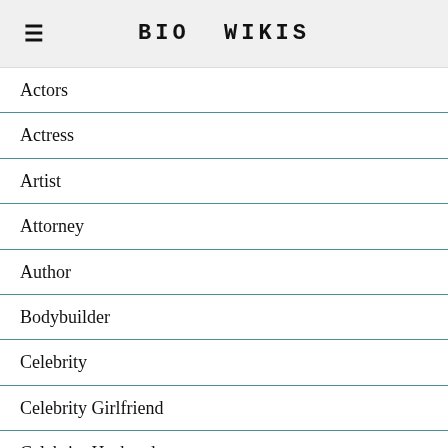BIO WIKIS
Actors
Actress
Artist
Attorney
Author
Bodybuilder
Celebrity
Celebrity Girlfriend
Celebrity Husband
Celebrity Kid
Celebrity Wife
Chef